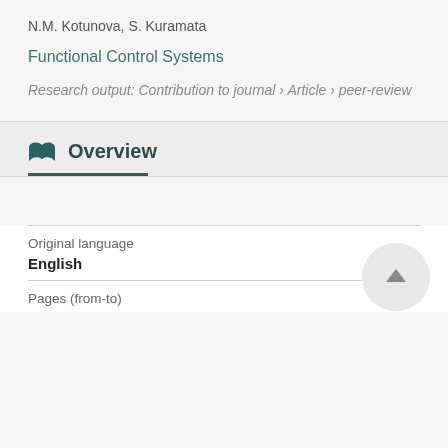N.M. Kotunova, S. Kuramata
Functional Control Systems
Research output: Contribution to journal › Article › peer-review
Overview
Original language
English
Pages (from-to)